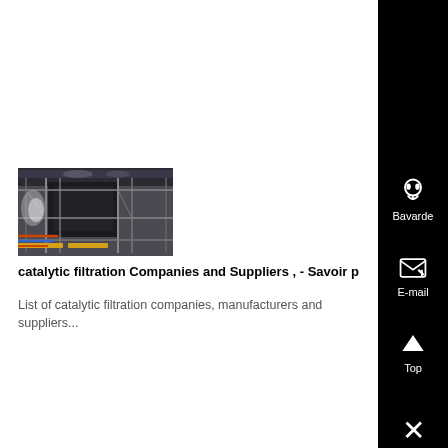[Figure (photo): Industrial catalytic filtration equipment with scaffolding and pipes inside a large facility]
catalytic filtration Companies and Suppliers , - Savoir p
List of catalytic filtration companies, manufacturers and suppliers...